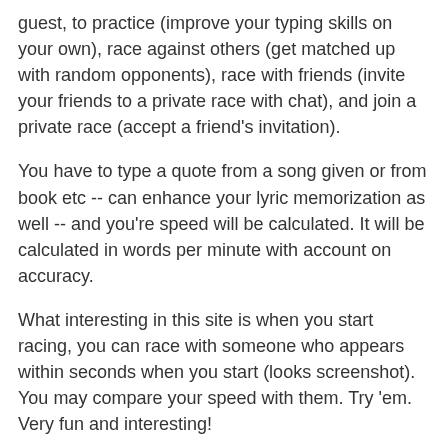guest, to practice (improve your typing skills on your own), race against others (get matched up with random opponents), race with friends (invite your friends to a private race with chat), and join a private race (accept a friend's invitation).
You have to type a quote from a song given or from book etc -- can enhance your lyric memorization as well -- and you're speed will be calculated. It will be calculated in words per minute with account on accuracy.
What interesting in this site is when you start racing, you can race with someone who appears within seconds when you start (looks screenshot). You may compare your speed with them. Try 'em. Very fun and interesting!
[Figure (screenshot): A screenshot placeholder image with a broken image icon in a bordered box.]